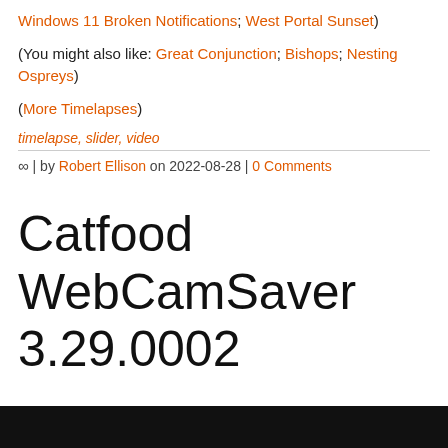Windows 11 Broken Notifications; West Portal Sunset)
(You might also like: Great Conjunction; Bishops; Nesting Ospreys)
(More Timelapses)
timelapse, slider, video
∞ | by Robert Ellison on 2022-08-28 | 0 Comments
Catfood WebCamSaver 3.29.0002
[Figure (photo): Dark/black image at the bottom of the page, partially visible]